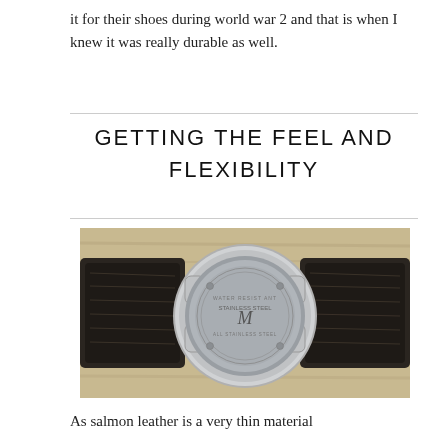it for their shoes during world war 2 and that is when I knew it was really durable as well.
GETTING THE FEEL AND FLEXIBILITY
[Figure (photo): Back of a wristwatch with silver case and dark textured leather strap, placed on a wooden surface]
As salmon leather is a very thin material